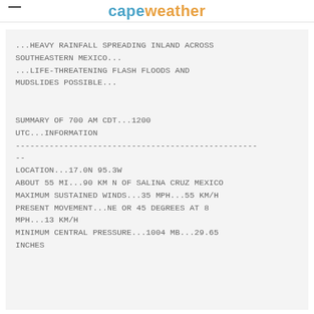capeweather
...HEAVY RAINFALL SPREADING INLAND ACROSS SOUTHEASTERN MEXICO...
...LIFE-THREATENING FLASH FLOODS AND MUDSLIDES POSSIBLE...


SUMMARY OF 700 AM CDT...1200 UTC...INFORMATION
-------------------------------------------------- --
LOCATION...17.0N 95.3W
ABOUT 55 MI...90 KM N OF SALINA CRUZ MEXICO
MAXIMUM SUSTAINED WINDS...35 MPH...55 KM/H
PRESENT MOVEMENT...NE OR 45 DEGREES AT 8 MPH...13 KM/H
MINIMUM CENTRAL PRESSURE...1004 MB...29.65 INCHES